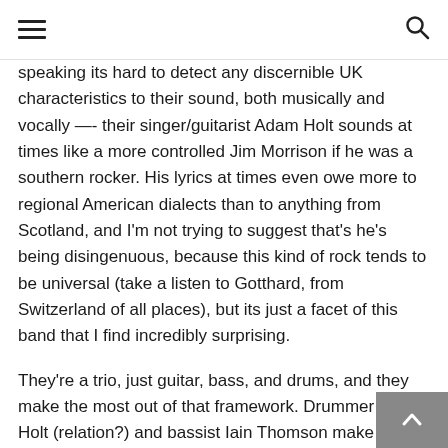≡  🔍
speaking its hard to detect any discernible UK characteristics to their sound, both musically and vocally —- their singer/guitarist Adam Holt sounds at times like a more controlled Jim Morrison if he was a southern rocker. His lyrics at times even owe more to regional American dialects than to anything from Scotland, and I'm not trying to suggest that's he's being disingenuous, because this kind of rock tends to be universal (take a listen to Gotthard, from Switzerland of all places), but its just a facet of this band that I find incredibly surprising.
They're a trio, just guitar, bass, and drums, and they make the most out of that framework. Drummer Jon Holt (relation?) and bassist Iain Thomson make up an admirable rhythm section,